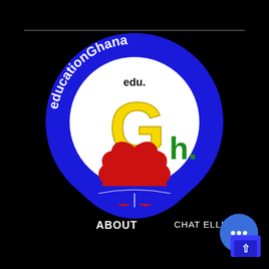[Figure (logo): educationGhana logo: blue circle with white text 'educationGhana' arched along top, inner white circle with large yellow 'G', smaller green 'h.' text, red flower/lotus design at bottom, open book illustration at base, and 'edu.' text at top center inside circle]
ABOUT
CHAT ELLIS